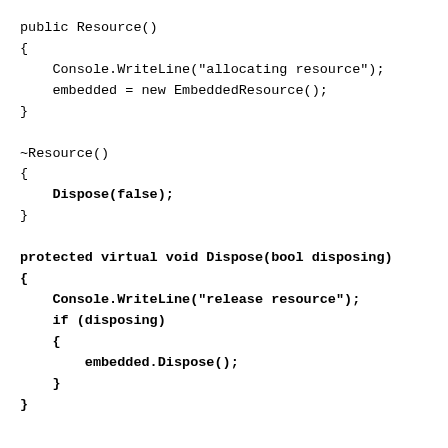public Resource()
{
    Console.WriteLine("allocating resource");
    embedded = new EmbeddedResource();
}

~Resource()
{
    Dispose(false);
}

protected virtual void Dispose(bool disposing)
{
    Console.WriteLine("release resource");
    if (disposing)
    {
        embedded.Dispose();
    }
}